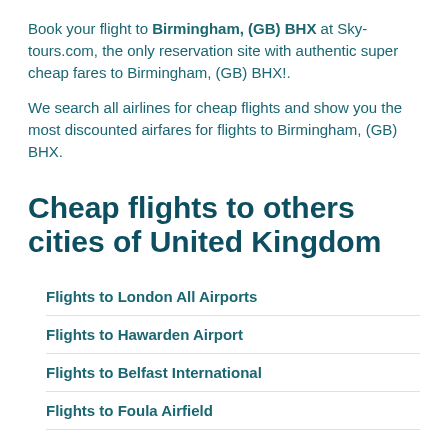Book your flight to Birmingham, (GB) BHX at Sky-tours.com, the only reservation site with authentic super cheap fares to Birmingham, (GB) BHX!.
We search all airlines for cheap flights and show you the most discounted airfares for flights to Birmingham, (GB) BHX.
Cheap flights to others cities of United Kingdom
Flights to London All Airports
Flights to Hawarden Airport
Flights to Belfast International
Flights to Foula Airfield